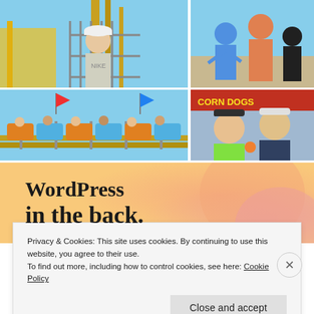[Figure (photo): Photo collage of four images from what appears to be an amusement park/fairground. Top-left: boy in white cap behind cage/fence at amusement ride. Top-right: group of children/teens at outdoor fair. Middle-right: two girls at fairground corn dog stand with sunglasses. Bottom-left: people riding roller coaster/amusement ride with colorful cars.]
[Figure (screenshot): Partial WordPress advertisement banner showing text 'WordPress in the back.' on a warm gradient background (orange to pink).]
Privacy & Cookies: This site uses cookies. By continuing to use this website, you agree to their use.
To find out more, including how to control cookies, see here: Cookie Policy
Close and accept